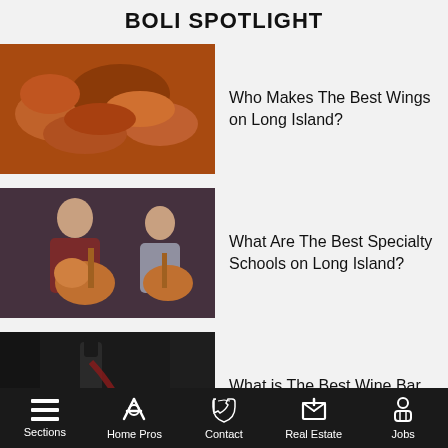BOLI SPOTLIGHT
[Figure (photo): Close-up photo of cooked chicken wings, golden-brown and glazed]
Who Makes The Best Wings on Long Island?
[Figure (photo): Two people playing acoustic guitars in a music studio setting]
What Are The Best Specialty Schools on Long Island?
[Figure (photo): Wine being poured, with bottle and wine cellar background, dark moody lighting]
What is The Best Wine Bar or Cellar on Long Island?
Sections   Home Pros   Contact   Real Estate   Jobs